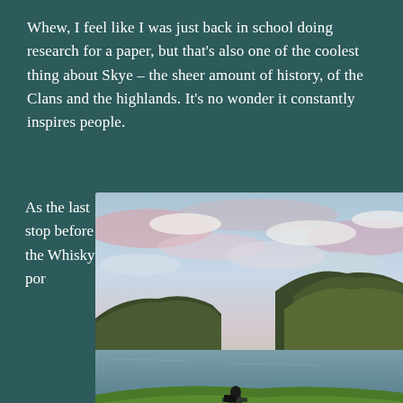Whew, I feel like I was just back in school doing research for a paper, but that's also one of the coolest thing about Skye – the sheer amount of history, of the Clans and the highlands. It's no wonder it constantly inspires people.
As the last stop before the Whisky por
[Figure (photo): A person standing on a green grassy hillside overlooking a calm sea loch with mountains in the background under a dramatic sunset sky with pink and blue clouds. Isle of Skye, Scotland landscape.]